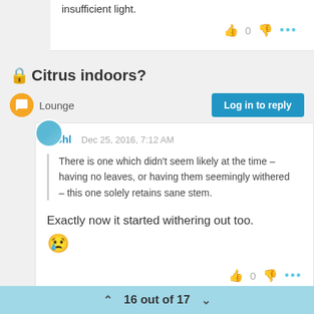insufficient light.
🔒Citrus indoors?
Lounge
Log in to reply
joshl  Dec 25, 2016, 7:12 AM
There is one which didn't seem likely at the time – having no leaves, or having them seemingly withered – this one solely retains sane stem.
Exactly now it started withering out too. 😢
16 out of 17